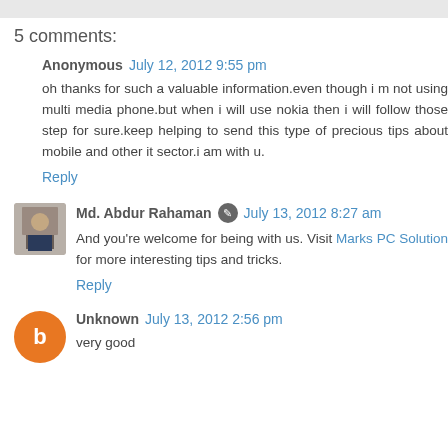5 comments:
Anonymous July 12, 2012 9:55 pm
oh thanks for such a valuable information.even though i m not using multi media phone.but when i will use nokia then i will follow those step for sure.keep helping to send this type of precious tips about mobile and other it sector.i am with u.
Reply
Md. Abdur Rahaman July 13, 2012 8:27 am
And you're welcome for being with us. Visit Marks PC Solution for more interesting tips and tricks.
Reply
Unknown July 13, 2012 2:56 pm
very good